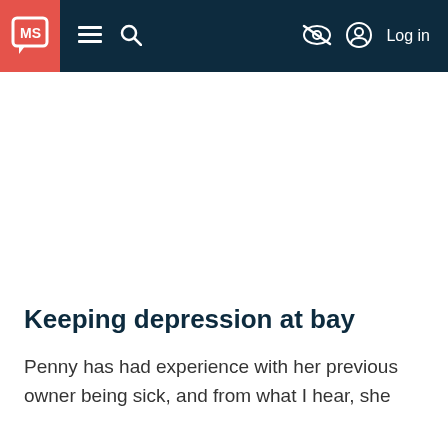MS | Log in
Keeping depression at bay
Penny has had experience with her previous owner being sick, and from what I hear, she